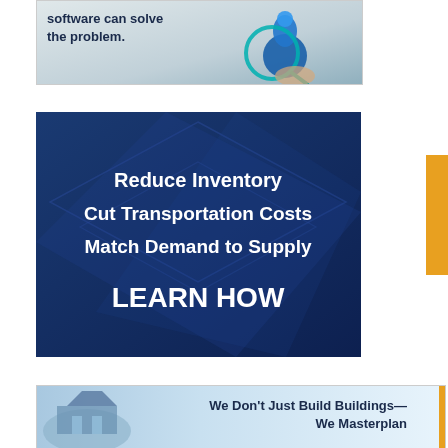[Figure (photo): Advertisement banner showing text 'software can solve the problem.' with an image of blue industrial connector/plug against a grey background]
[Figure (infographic): Dark blue advertisement banner with geometric diamond shapes in background. Text reads: Reduce Inventory, Cut Transportation Costs, Match Demand to Supply, LEARN HOW]
[Figure (photo): Bottom advertisement banner with image of a modern building/masterplan and text: We Don't Just Build Buildings—We Masterplan, with an orange vertical bar on the right]
[Figure (infographic): Orange vertical tab on right side reading 'FAQs & Feedback']